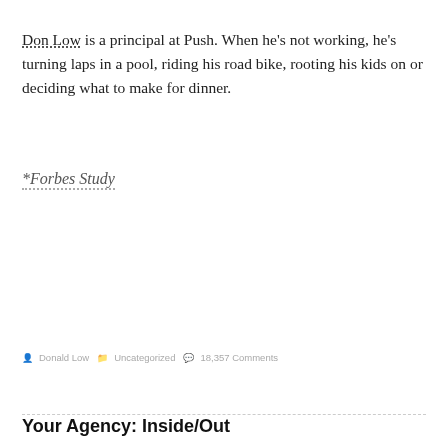Don Low is a principal at Push. When he's not working, he's turning laps in a pool, riding his road bike, rooting his kids on or deciding what to make for dinner.
*Forbes Study
Donald Low   Uncategorized   18,357 Comments
Your Agency: Inside/Out